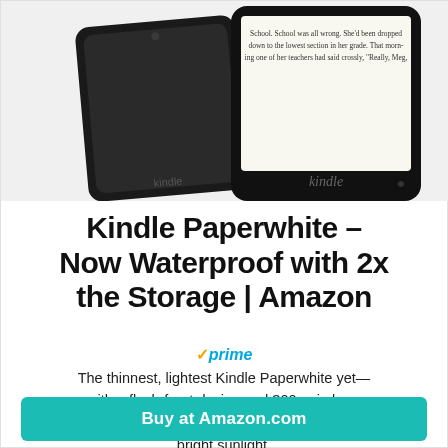[Figure (photo): Two Kindle Paperwhite devices displayed — one showing the back of the device (black) and one showing the front screen with text from a novel, with the Kindle logo visible at the bottom.]
Kindle Paperwhite – Now Waterproof with 2x the Storage | Amazon
✓prime
The thinnest, lightest Kindle Paperwhite yet—with a flush-front design and 300 ppi glare-free display that reads like real paper even in bright sunlight.
Buy at Amazon.com